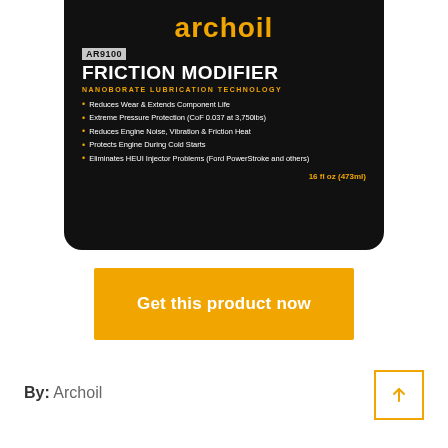[Figure (photo): Archoil AR9100 Friction Modifier product bottle with black label showing brand name, product ID, tagline, bullet points of benefits, and volume information]
Get this product now
By: Archoil